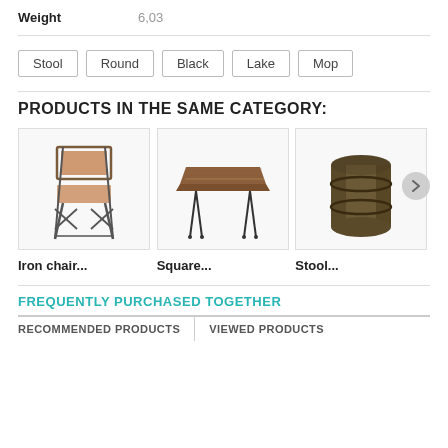| Property | Value |
| --- | --- |
| Weight | 6,03 |
Stool
Round
Black
Lake
Mop
PRODUCTS IN THE SAME CATEGORY:
[Figure (photo): Iron chair with leather seat and metal cross-leg frame]
Iron chair...
[Figure (photo): Square wooden table top with thin black hairpin legs]
Square...
[Figure (photo): Round dark barrel-shaped stool]
Stool...
FREQUENTLY PURCHASED TOGETHER
RECOMMENDED PRODUCTS  |  VIEWED PRODUCTS